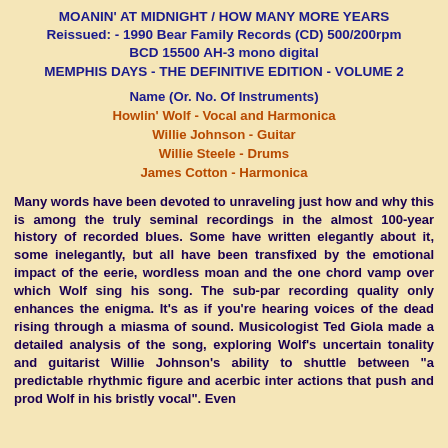MOANIN' AT MIDNIGHT / HOW MANY MORE YEARS
Reissued: - 1990 Bear Family Records (CD) 500/200rpm
BCD 15500 AH-3 mono digital
MEMPHIS DAYS - THE DEFINITIVE EDITION - VOLUME 2
Name (Or. No. Of Instruments)
Howlin' Wolf - Vocal and Harmonica
Willie Johnson - Guitar
Willie Steele - Drums
James Cotton - Harmonica
Many words have been devoted to unraveling just how and why this is among the truly seminal recordings in the almost 100-year history of recorded blues. Some have written elegantly about it, some inelegantly, but all have been transfixed by the emotional impact of the eerie, wordless moan and the one chord vamp over which Wolf sing his song. The sub-par recording quality only enhances the enigma. It's as if you're hearing voices of the dead rising through a miasma of sound. Musicologist Ted Giola made a detailed analysis of the song, exploring Wolf's uncertain tonality and guitarist Willie Johnson's ability to shuttle between "a predictable rhythmic figure and acerbic inter actions that push and prod Wolf in his bristly vocal". Even